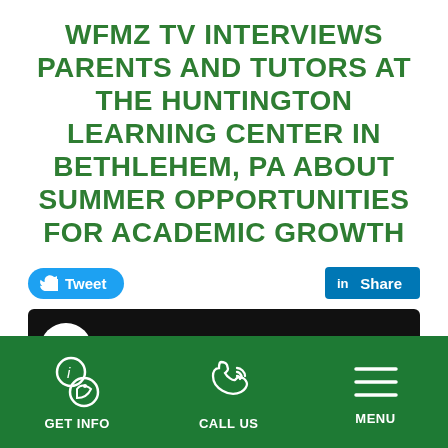WFMZ TV INTERVIEWS PARENTS AND TUTORS AT THE HUNTINGTON LEARNING CENTER IN BETHLEHEM, PA ABOUT SUMMER OPPORTUNITIES FOR ACADEMIC GROWTH
[Figure (screenshot): Twitter Tweet button (blue rounded) and LinkedIn Share button (blue square)]
[Figure (screenshot): Embedded video player with black background showing 'mb' logo and title 'Huntington Learning Center on W...' with three-dot menu]
GET INFO   CALL US   MENU